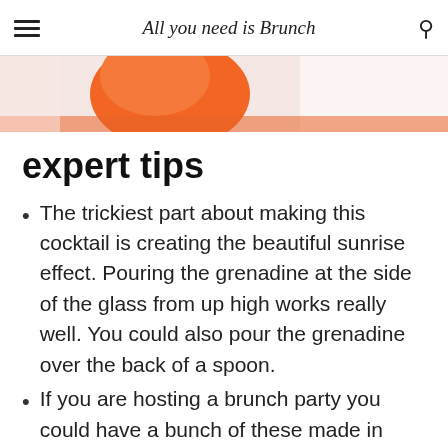All you need is Brunch
[Figure (photo): Partial photo of orange and white cocktail or drink, cropped at top of page]
expert tips
The trickiest part about making this cocktail is creating the beautiful sunrise effect. Pouring the grenadine at the side of the glass from up high works really well. You could also pour the grenadine over the back of a spoon.
If you are hosting a brunch party you could have a bunch of these made in